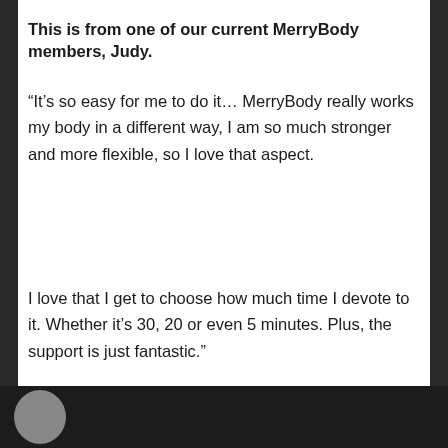This is from one of our current MerryBody members, Judy.
“It’s so easy for me to do it… MerryBody really works my body in a different way, I am so much stronger and more flexible, so I love that aspect.

I love that I get to choose how much time I devote to it. Whether it’s 30, 20 or even 5 minutes. Plus, the support is just fantastic.”
[Figure (photo): Bottom portion of a dark photo showing two people, partially visible at the bottom of the page]